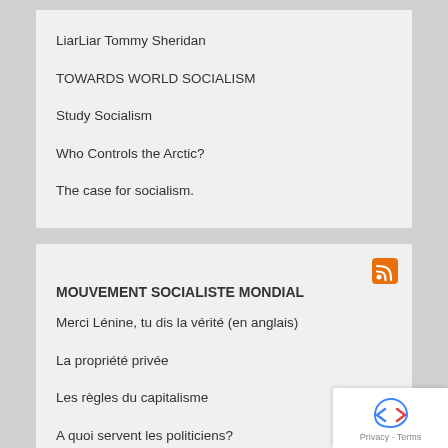LiarLiar Tommy Sheridan
TOWARDS WORLD SOCIALISM
Study Socialism
Who Controls the Arctic?
The case for socialism.
MOUVEMENT SOCIALISTE MONDIAL
Merci Lénine, tu dis la vérité (en anglais)
La propriété privée
Les règles du capitalisme
A quoi servent les politiciens?
Une société de l'accès libre